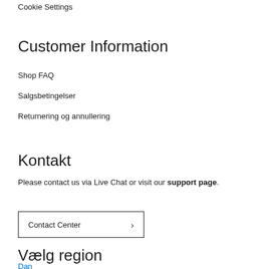Cookie Settings
Customer Information
Shop FAQ
Salgsbetingelser
Returnering og annullering
Kontakt
Please contact us via Live Chat or visit our support page.
Contact Center
Vælg region